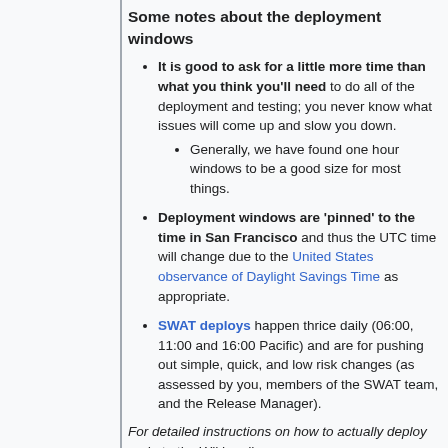Some notes about the deployment windows
It is good to ask for a little more time than what you think you'll need to do all of the deployment and testing; you never know what issues will come up and slow you down.
Generally, we have found one hour windows to be a good size for most things.
Deployment windows are 'pinned' to the time in San Francisco and thus the UTC time will change due to the United States observance of Daylight Savings Time as appropriate.
SWAT deploys happen thrice daily (06:00, 11:00 and 16:00 Pacific) and are for pushing out simple, quick, and low risk changes (as assessed by you, members of the SWAT team, and the Release Manager).
For detailed instructions on how to actually deploy code to the Wikimedia servers, see